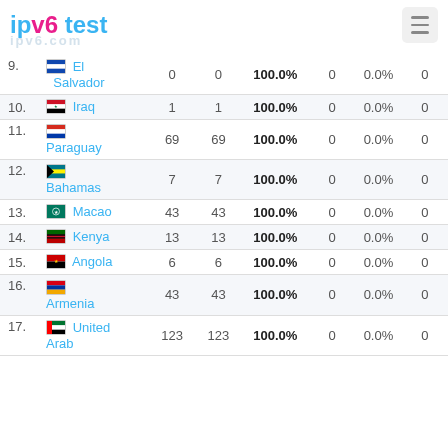ipv6 test
| # | Country |  |  | IPv6% |  |  |  |
| --- | --- | --- | --- | --- | --- | --- | --- |
| 9. | El Salvador | 0 | 0 | 100.0% | 0 | 0.0% | 0 |
| 10. | Iraq | 1 | 1 | 100.0% | 0 | 0.0% | 0 |
| 11. | Paraguay | 69 | 69 | 100.0% | 0 | 0.0% | 0 |
| 12. | Bahamas | 7 | 7 | 100.0% | 0 | 0.0% | 0 |
| 13. | Macao | 43 | 43 | 100.0% | 0 | 0.0% | 0 |
| 14. | Kenya | 13 | 13 | 100.0% | 0 | 0.0% | 0 |
| 15. | Angola | 6 | 6 | 100.0% | 0 | 0.0% | 0 |
| 16. | Armenia | 43 | 43 | 100.0% | 0 | 0.0% | 0 |
| 17. | United Arab | 123 | 123 | 100.0% | 0 | 0.0% | 0 |